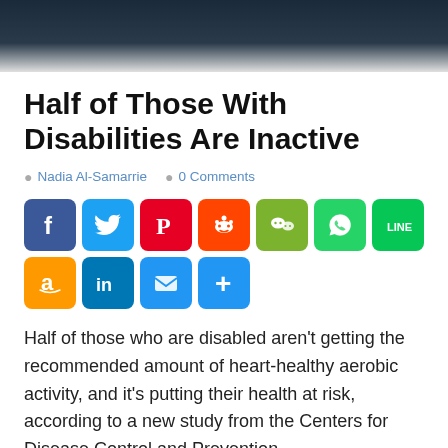[Figure (photo): Partial view of a dark background photo strip at top of page]
Half of Those With Disabilities Are Inactive
Nadia Al-Samarrie   0 Comments
[Figure (infographic): Social sharing buttons: Facebook, Twitter, Pinterest, Reddit, WeChat, WhatsApp, LINE, Amazon, LinkedIn, Email, More]
Half of those who are disabled aren't getting the recommended amount of heart-healthy aerobic activity, and it's putting their health at risk, according to a new study from the Centers for Disease Control and Prevention.